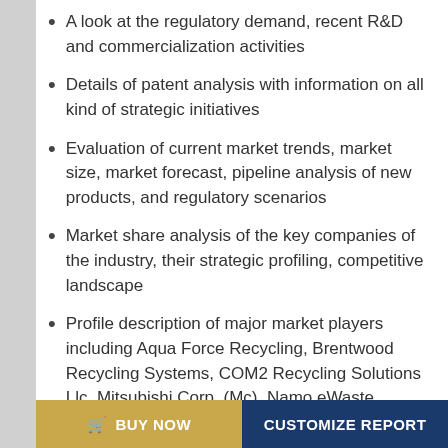A look at the regulatory demand, recent R&D and commercialization activities
Details of patent analysis with information on all kind of strategic initiatives
Evaluation of current market trends, market size, market forecast, pipeline analysis of new products, and regulatory scenarios
Market share analysis of the key companies of the industry, their strategic profiling, competitive landscape
Profile description of major market players including Aqua Force Recycling, Brentwood Recycling Systems, COM2 Recycling Solutions Llc, Mitsubishi Corp. (Mc), Namo eWaste Management Ltd., Tesla and Ucan
BUY NOW   CUSTOMIZE REPORT